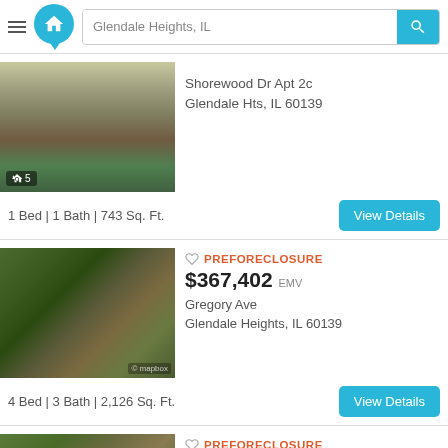Glendale Heights, IL
[Figure (photo): Photo of apartment building exterior with 5 photos indicator]
Shorewood Dr Apt 2c
Glendale Hts, IL 60139
1 Bed | 1 Bath | 743 Sq. Ft.
PREFORECLOSURE
$367,402 EMV
Gregory Ave
Glendale Heights, IL 60139
[Figure (photo): Aerial satellite view of Gregory Ave neighborhood]
4 Bed | 3 Bath | 2,126 Sq. Ft.
PREFORECLOSURE
$72,000 EMV
Spruce St Apt 2b
[Figure (photo): Aerial satellite view of Spruce St property]